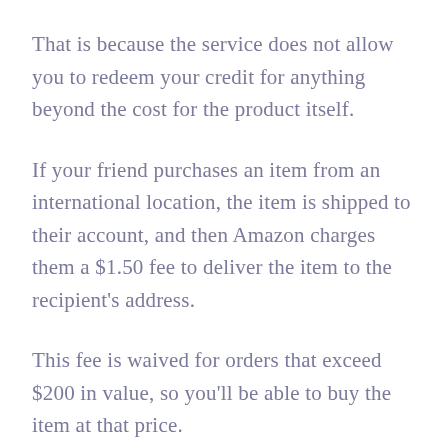That is because the service does not allow you to redeem your credit for anything beyond the cost for the product itself.
If your friend purchases an item from an international location, the item is shipped to their account, and then Amazon charges them a $1.50 fee to deliver the item to the recipient's address.
This fee is waived for orders that exceed $200 in value, so you'll be able to buy the item at that price.
If this service is too expensive for you, you could always use PayPal.